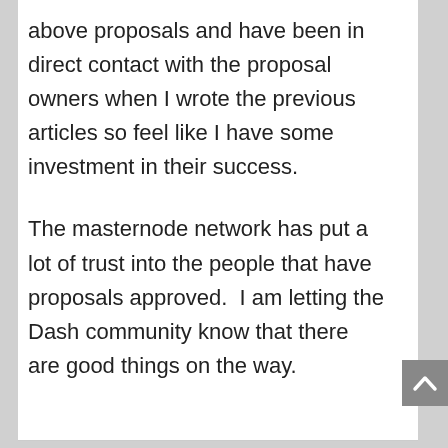above proposals and have been in direct contact with the proposal owners when I wrote the previous articles so feel like I have some investment in their success.
The masternode network has put a lot of trust into the people that have proposals approved.  I am letting the Dash community know that there are good things on the way.